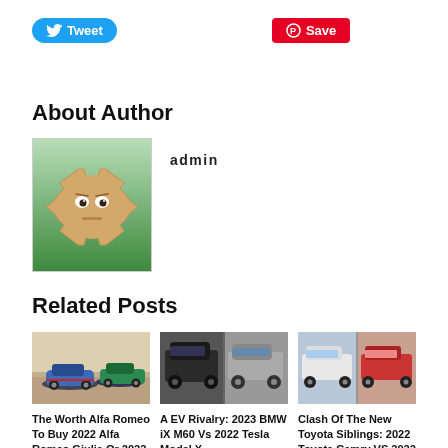[Figure (screenshot): Twitter Tweet button (blue rounded) and Pinterest Save button (red)]
About Author
[Figure (illustration): Admin avatar: cartoon gear/cog face emoji with eyes on green background]
admin
Related Posts
[Figure (photo): Two Alfa Romeo Giulia cars on racetrack, blue and green]
The Worth Alfa Romeo To Buy 2022 Alfa Romeo Giulia Or 2022
[Figure (photo): Two BMW iX M60 and Tesla Model X cars side by side]
A EV Rivalry: 2023 BMW iX M60 Vs 2022 Tesla Model X
[Figure (photo): Two Toyota cars: Camry and Corolla side by side]
Clash Of The New Toyota Siblings: 2022 Toyota Camry VS 2022 Toyota Corolla